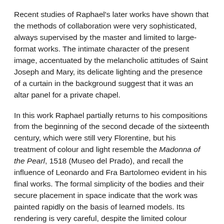Recent studies of Raphael's later works have shown that the methods of collaboration were very sophisticated, always supervised by the master and limited to large-format works. The intimate character of the present image, accentuated by the melancholic attitudes of Saint Joseph and Mary, its delicate lighting and the presence of a curtain in the background suggest that it was an altar panel for a private chapel.
In this work Raphael partially returns to his compositions from the beginning of the second decade of the sixteenth century, which were still very Florentine, but his treatment of colour and light resemble the Madonna of the Pearl, 1518 (Museo del Prado), and recall the influence of Leonardo and Fra Bartolomeo evident in his final works. The formal simplicity of the bodies and their secure placement in space indicate that the work was painted rapidly on the basis of learned models. Its rendering is very careful, despite the limited colour scheme: the blues overlap a pink layer, the flesh tones are rendered with very thin coats of paint, and the shadows and hair approach the levels of transparency attained in Madonna of the Pearl. There are two [continues...]